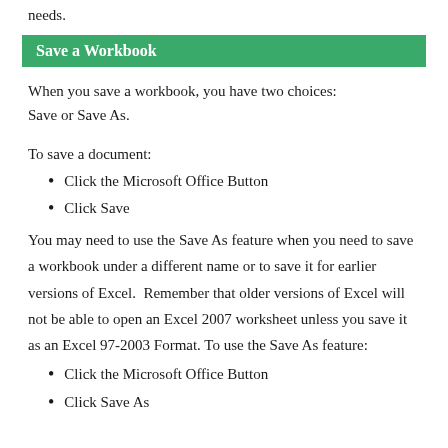needs.
Save a Workbook
When you save a workbook, you have two choices: Save or Save As.
To save a document:
Click the Microsoft Office Button
Click Save
You may need to use the Save As feature when you need to save a workbook under a different name or to save it for earlier versions of Excel.  Remember that older versions of Excel will not be able to open an Excel 2007 worksheet unless you save it as an Excel 97-2003 Format. To use the Save As feature:
Click the Microsoft Office Button
Click Save As